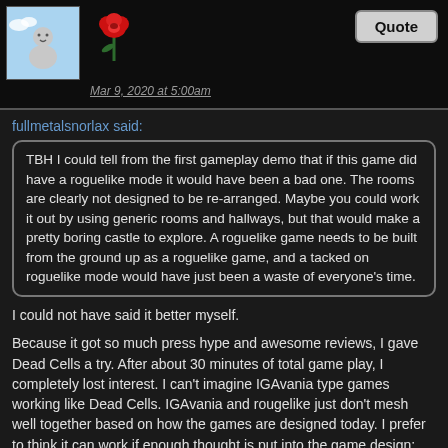[Figure (illustration): Forum post header with user avatar (cartoon person on blue background), a red rose icon, a Quote button, and timestamp Mar 9, 2020 at 5:00am]
fullmetalsnorlax said:
TBH I could tell from the first gameplay demo that if this game did have a roguelike mode it would have been a bad one. The rooms are clearly not designed to be re-arranged. Maybe you could work it out by using generic rooms and hallways, but that would make a pretty boring castle to explore. A roguelike game needs to be built from the ground up as a roguelike game, and a tacked on roguelike mode would have just been a waste of everyone's time.
I could not have said it better myself.
Because it got so much press hype and awesome reviews, I gave Dead Cells a try. After about 30 minutes of total game play, I completely lost interest. I can't imagine IGAvania type games working like Dead Cells. IGAvania and rougelike just don't mesh well together based on how the games are designed today. I prefer to think it can work if enough thought is put into the game design; but it's going to take some REALLY creative thinking.
Again, I bring up Chasm. They tried to bring one aspect of rougelike into IGAvania - procedurally generated levels. After playing through about half way, I had to push myself to finish the game and I never looked back. The level design sacrificed beauty and uniqueness for re-usability. As a result it